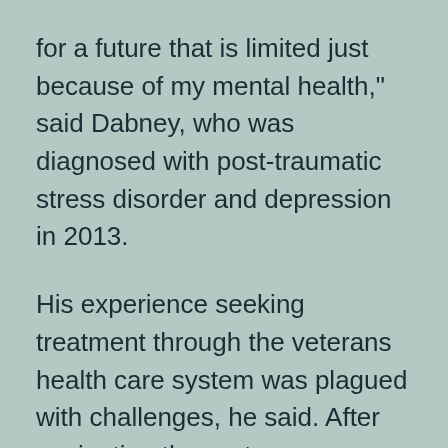for a future that is limited just because of my mental health," said Dabney, who was diagnosed with post-traumatic stress disorder and depression in 2013.
His experience seeking treatment through the veterans health care system was plagued with challenges, he said. After navigating the system as a Black veteran, he wondered if he might help others find more culturally competent services that the federal government seemed ill-equipped to provide.
Testimony like Dabney's was being shared at